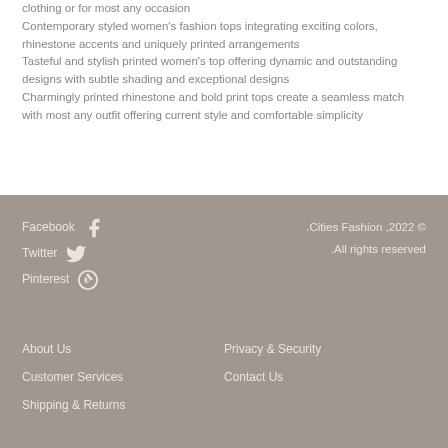clothing or for most any occasion
Contemporary styled women's fashion tops integrating exciting colors, rhinestone accents and uniquely printed arrangements
Tasteful and stylish printed women's top offering dynamic and outstanding designs with subtle shading and exceptional designs
Charmingly printed rhinestone and bold print tops create a seamless match with most any outfit offering current style and comfortable simplicity
Facebook  Twitter  Pinterest  .Cities Fashion ,2022 ©  .All rights reserved  About Us  Privacy & Security  Customer Services  Contact Us  Shipping & Returns